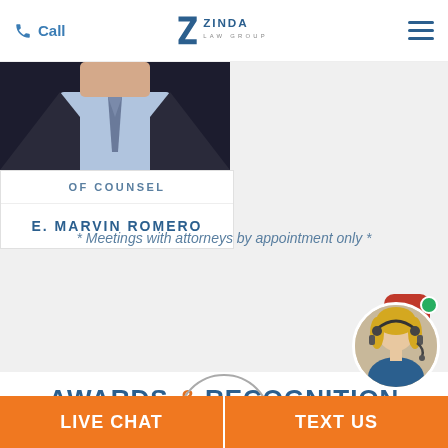Call | ZINDA LAW GROUP | (menu)
[Figure (photo): Partial photo of attorney in dark suit and tie with light blue shirt]
OF COUNSEL
E. MARVIN ROMERO
* Meetings with attorneys by appointment only *
AWARDS & RECOGNITION
[Figure (logo): Partial circular logo at bottom of awards section]
[Figure (photo): Live chat widget with agent photo (blonde woman with headset), red speech bubble with dots, and green online indicator]
LIVE CHAT | TEXT US